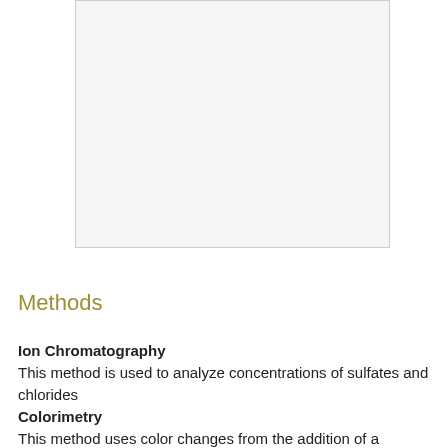[Figure (other): A blank light-gray rectangular image placeholder with a thin border]
Methods
Ion Chromatography
This method is used to analyze concentrations of sulfates and chlorides
Colorimetry
This method uses color changes from the addition of a